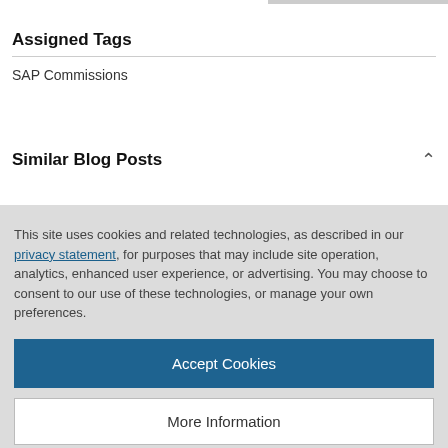Assigned Tags
SAP Commissions
Similar Blog Posts
This site uses cookies and related technologies, as described in our privacy statement, for purposes that may include site operation, analytics, enhanced user experience, or advertising. You may choose to consent to our use of these technologies, or manage your own preferences.
Accept Cookies
More Information
Privacy Policy | Powered by: TrustArc